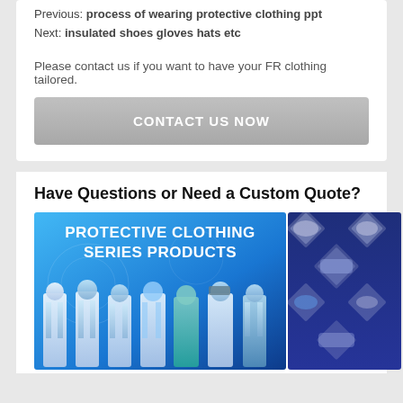Previous: process of wearing protective clothing ppt
Next: insulated shoes gloves hats etc
Please contact us if you want to have your FR clothing tailored.
CONTACT US NOW
Have Questions or Need a Custom Quote?
[Figure (photo): Promotional banner for Protective Clothing Series Products showing people in protective suits and accessories on a blue background]